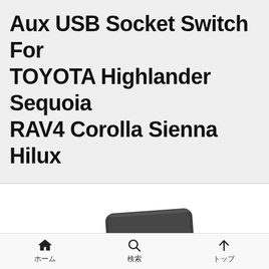Aux USB Socket Switch For TOYOTA Highlander Sequoia RAV4 Corolla Sienna Hilux
[Figure (photo): A dark grey automotive USB/AUX socket switch button with 'USB' and 'AUX' text printed in white on its face. The button has a square face with rounded corners and a connector visible at the bottom.]
ホーム　検索　トップ